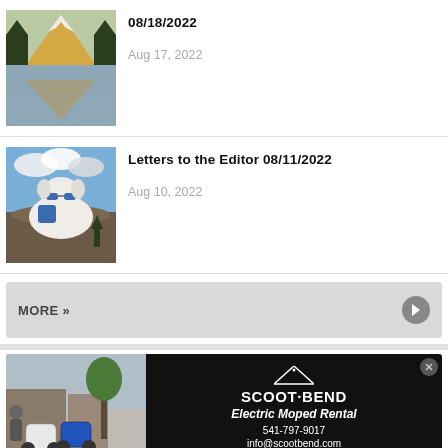[Figure (photo): Mountain lake with snow-capped peak and trees reflected in water]
08/18/2022
Aug 17, 2022
[Figure (photo): White fluffy dog wearing blue sunglasses and a blue backpack, sitting on rocks outdoors]
Letters to the Editor 08/11/2022
Aug 10, 2022
MORE »
[Figure (photo): Two electric mopeds parked outside with a person nearby]
SCOOT·BEND
Electric Moped Rental
541-797-9017
info@scootbend.com
scootbend.com